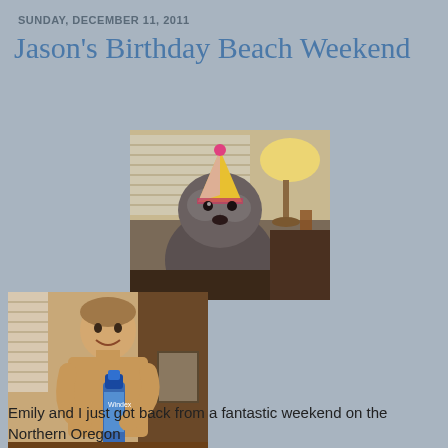SUNDAY, DECEMBER 11, 2011
Jason's Birthday Beach Weekend
[Figure (photo): A fluffy gray dog wearing a yellow and pink birthday party hat, sitting indoors with a lamp and bottles visible in the background]
[Figure (photo): A man smiling and holding a large bottle, standing indoors near wooden furniture]
Emily and I just got back from a fantastic weekend on the Northern Oregon